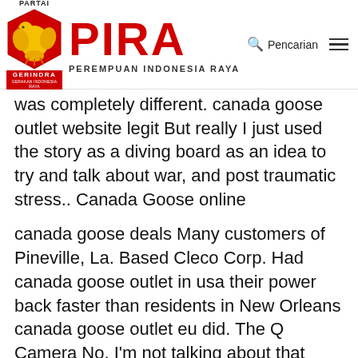[Figure (logo): PIRA - Perempuan Indonesia Raya logo with Gerindra party shield (red pentagon with golden eagle) and large red PIRA text, plus Pencarian (search) and hamburger menu icons in header]
was completely different. canada goose outlet website legit But really I just used the story as a diving board as an idea to try and talk about war, and post traumatic stress.. Canada Goose online
canada goose deals Many customers of Pineville, La. Based Cleco Corp. Had canada goose outlet in usa their power back faster than residents in New Orleans canada goose outlet eu did. The Q Camera No, I'm not talking about that over priced 28mm from you know who this is the